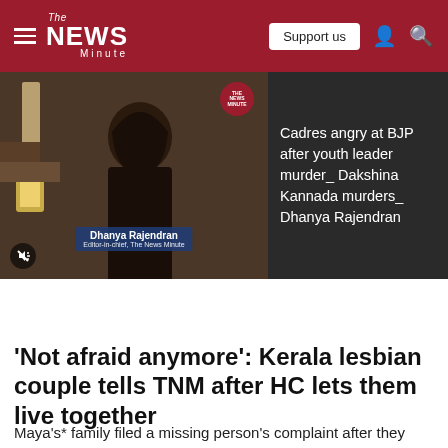The News Minute
[Figure (screenshot): Video thumbnail showing Dhanya Rajendran, Editor-in-chief of The News Minute, with a name tag overlay. TNM logo badge in top right corner. Mute button visible at bottom left.]
Cadres angry at BJP after youth leader murder_ Dakshina Kannada murders_ Dhanya Rajendran
'Not afraid anymore': Kerala lesbian couple tells TNM after HC lets them live together
Maya's* family filed a missing person's complaint after they